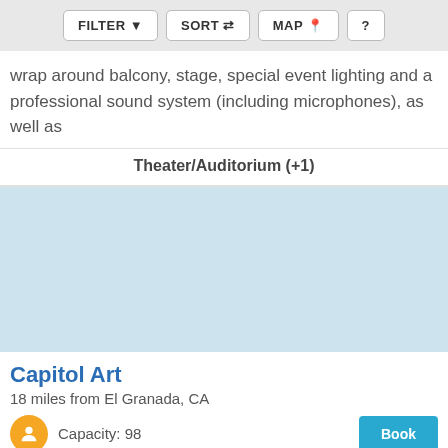FILTER  SORT  MAP  ?
wrap around balcony, stage, special event lighting and a professional sound system (including microphones), as well as
Theater/Auditorium (+1)
[Figure (photo): Light blue placeholder image for Capitol Art venue listing]
Capitol Art
18 miles from El Granada, CA
Capacity: 98